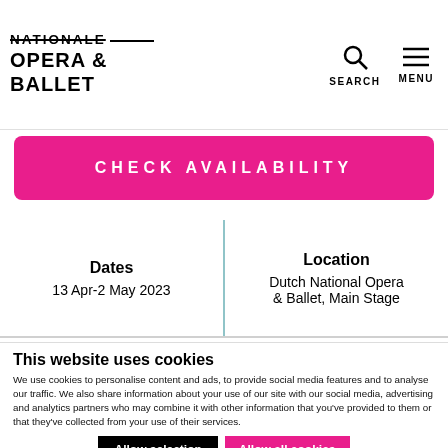NATIONALE OPERA & BALLET — SEARCH — MENU
CHECK AVAILABILITY
Dates
13 Apr-2 May 2023
Location
Dutch National Opera & Ballet, Main Stage
This website uses cookies
We use cookies to personalise content and ads, to provide social media features and to analyse our traffic. We also share information about your use of our site with our social media, advertising and analytics partners who may combine it with other information that you've provided to them or that they've collected from your use of their services.
Allow selection
Allow all cookies
Necessary  Preferences  Statistics  Marketing  Show details